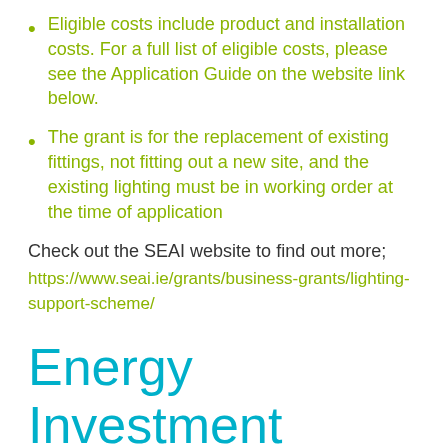Eligible costs include product and installation costs. For a full list of eligible costs, please see the Application Guide on the website link below.
The grant is for the replacement of existing fittings, not fitting out a new site, and the existing lighting must be in working order at the time of application
Check out the SEAI website to find out more;
https://www.seai.ie/grants/business-grants/lighting-support-scheme/
Energy Investment Projects